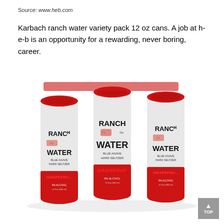Source: www.heb.com
Karbach ranch water variety pack 12 oz cans. A job at h-e-b is an opportunity for a rewarding, never boring, career.
[Figure (photo): Six-pack of Ranch Water Blue Agave Hard Seltzer Grapefruit cans in red and silver packaging by Karbach Brewing, 5% ALC/VOL, 12 fl oz cans.]